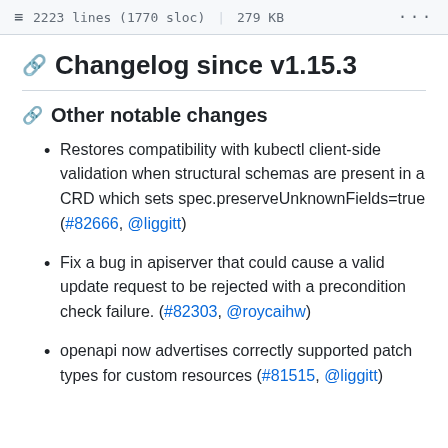2223 lines (1770 sloc) | 279 KB
Changelog since v1.15.3
Other notable changes
Restores compatibility with kubectl client-side validation when structural schemas are present in a CRD which sets spec.preserveUnknownFields=true (#82666, @liggitt)
Fix a bug in apiserver that could cause a valid update request to be rejected with a precondition check failure. (#82303, @roycaihw)
openapi now advertises correctly supported patch types for custom resources (#81515, @liggitt)